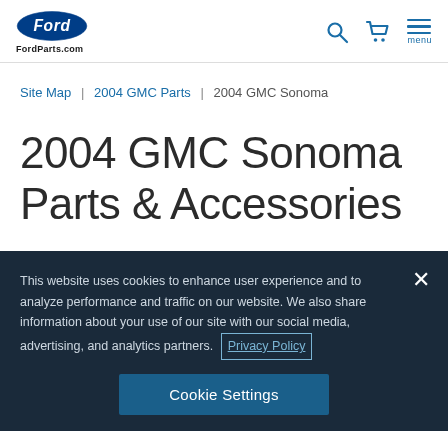FordParts.com header with Ford logo, search, cart, and menu icons
Site Map | 2004 GMC Parts | 2004 GMC Sonoma
2004 GMC Sonoma Parts & Accessories
This website uses cookies to enhance user experience and to analyze performance and traffic on our website. We also share information about your use of our site with our social media, advertising, and analytics partners. Privacy Policy
Cookie Settings